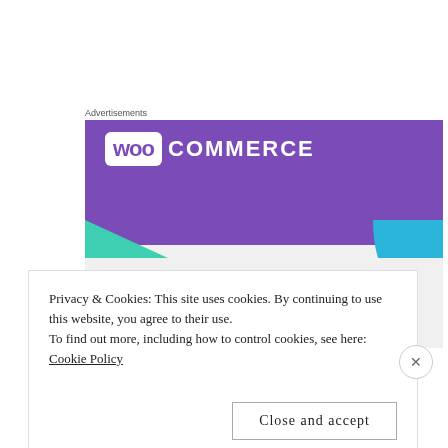Advertisements
[Figure (illustration): WooCommerce advertisement banner showing the WooCommerce logo on a purple background with teal and blue decorative triangles, and the text 'How to start selling subscriptions online']
Privacy & Cookies: This site uses cookies. By continuing to use this website, you agree to their use.
To find out more, including how to control cookies, see here: Cookie Policy
Close and accept